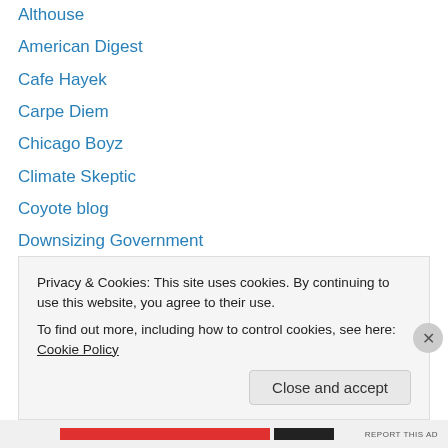Althouse
American Digest
Cafe Hayek
Carpe Diem
Chicago Boyz
Climate Skeptic
Coyote blog
Downsizing Government
Generacion Y (en Inglés)
Human Progress
International Liberty
libertarianism.org
Missourah
Nobody's Business (truncated)
Privacy & Cookies: This site uses cookies. By continuing to use this website, you agree to their use. To find out more, including how to control cookies, see here: Cookie Policy
Close and accept